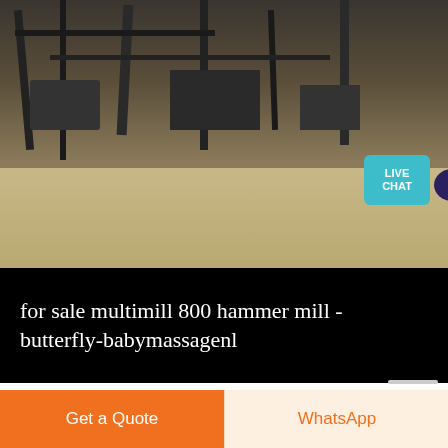[Figure (photo): Industrial factory or mill interior showing metal beams, structural framework, and heavy equipment on a concrete floor. A 'LIVE CHAT' speech bubble overlay appears in the top-right corner.]
for sale multimill 800 hammer mill - butterfly-babymassagenl
for sale multimill 800 hammer mill Hammer mills work using impact to break down materials, particularly when needing small particle sizes materials hit small hammers within the machines cylinder, and are sorted when they reach the designated size we sell used hammer mills from several trusted processing equipment manufacturers, such as kamas industries, and bliss ,